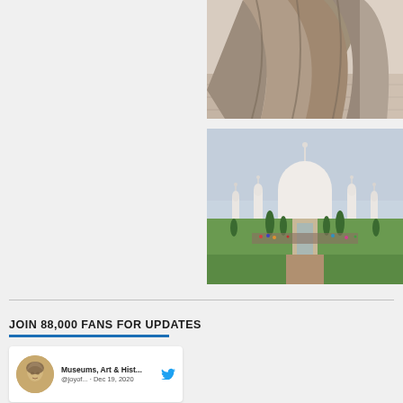[Figure (photo): Close-up photo of stone sculpture or artifact in a museum setting, showing draped fabric-like stone carvings against a tiled floor background]
[Figure (photo): Photograph of the Taj Mahal in Agra, India, with visitors in the foreground garden area, surrounded by green lawn and cypress trees under a hazy blue sky]
JOIN 88,000 FANS FOR UPDATES
[Figure (screenshot): Twitter widget showing account 'Museums, Art & Hist...' with handle @joyof... dated Dec 19, 2020, accompanied by a circular avatar showing a classical sculpture face and the Twitter bird logo]